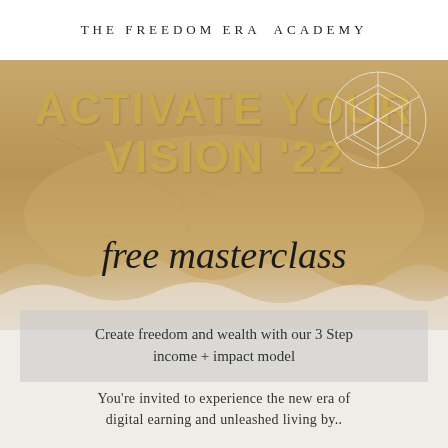THE FREEDOM ERA ACADEMY
ACTIVATE YOUR VISION '22
free masterclass
[Figure (illustration): Aerial desert sandy landscape background with cracked earth texture, with a geometric star/merkaba line drawing overlay in white on the upper right]
Create freedom and wealth with our 3 Step income + impact model
You're invited to experience the new era of digital earning and unleashed living by..